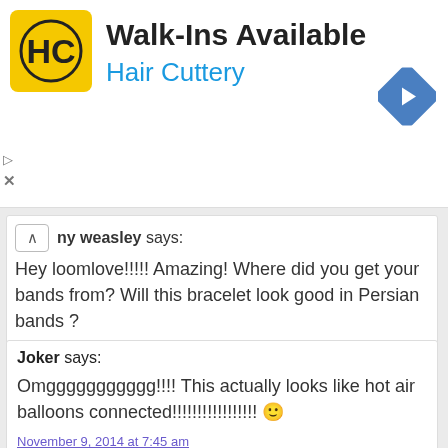[Figure (screenshot): Hair Cuttery advertisement banner with yellow logo, 'Walk-Ins Available' heading, 'Hair Cuttery' subheading in blue, and blue navigation arrow icon on the right.]
ny weasley says:
Hey loomlove!!!!! Amazing! Where did you get your bands from? Will this bracelet look good in Persian bands ?
November 9, 2014 at 1:52 am
Joker says:
Omggggggggggg!!!! This actually looks like hot air balloons connected!!!!!!!!!!!!!!!!! 🙂
November 9, 2014 at 7:45 am